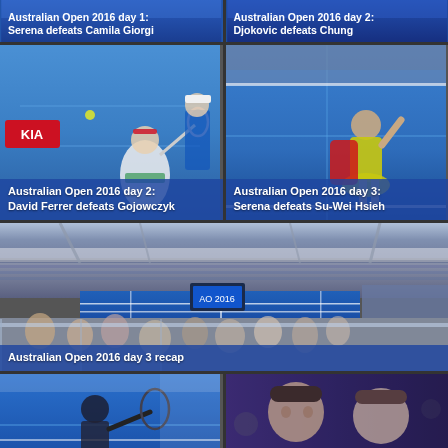[Figure (photo): Australian Open 2016 day 1 card - Serena defeats Camila Giorgi, blue background header]
Australian Open 2016 day 1: Serena defeats Camila Giorgi
[Figure (photo): Australian Open 2016 day 2 card - Djokovic defeats Chung, blue background header]
Australian Open 2016 day 2: Djokovic defeats Chung
[Figure (photo): Tennis player David Ferrer in white hitting a shot on blue court, KIA advertisement visible]
Australian Open 2016 day 2: David Ferrer defeats Gojowczyk
[Figure (photo): Serena Williams in yellow outfit walking on blue court at Australian Open]
Australian Open 2016 day 3: Serena defeats Su-Wei Hsieh
[Figure (photo): Wide panoramic shot of Australian Open stadium packed with spectators, blue court visible]
Australian Open 2016 day 3 recap
[Figure (photo): Tennis player hitting shot on blue court, partial view at bottom]
[Figure (photo): Two men in conversation against dark background, partial view at bottom]